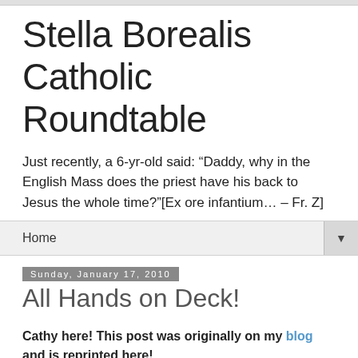Stella Borealis Catholic Roundtable
Just recently, a 6-yr-old said: “Daddy, why in the English Mass does the priest have his back to Jesus the whole time?”[Ex ore infantium… – Fr. Z]
Home ▼
Sunday, January 17, 2010
All Hands on Deck!
Cathy here! This post was originally on my blog and is reprinted here!
A rambling post that is NOT about priests on cruise lines! We can't afford to put priests on cruise ships! At least, not in this Archdiocese. We need every man!